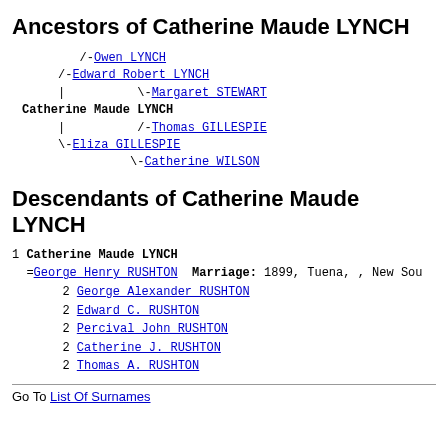Ancestors of Catherine Maude LYNCH
[Figure (other): Ancestor tree diagram showing: /-Owen LYNCH, /-Edward Robert LYNCH, | \-Margaret STEWART, Catherine Maude LYNCH, | /-Thomas GILLESPIE, \-Eliza GILLESPIE, \-Catherine WILSON]
Descendants of Catherine Maude LYNCH
1 Catherine Maude LYNCH
=George Henry RUSHTON  Marriage: 1899, Tuena, , New South Wales, Australia
2 George Alexander RUSHTON
2 Edward C. RUSHTON
2 Percival John RUSHTON
2 Catherine J. RUSHTON
2 Thomas A. RUSHTON
Go To List Of Surnames